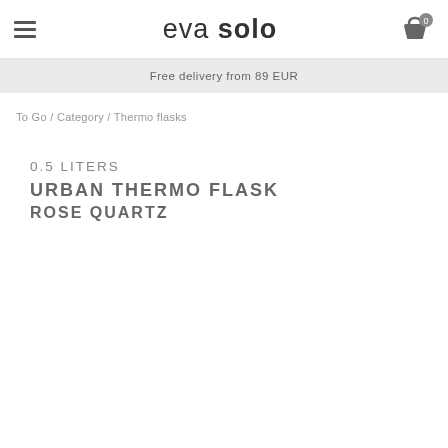eva solo
Free delivery from 89 EUR
To Go / Category / Thermo flasks
0.5 LITERS
URBAN THERMO FLASK
ROSE QUARTZ